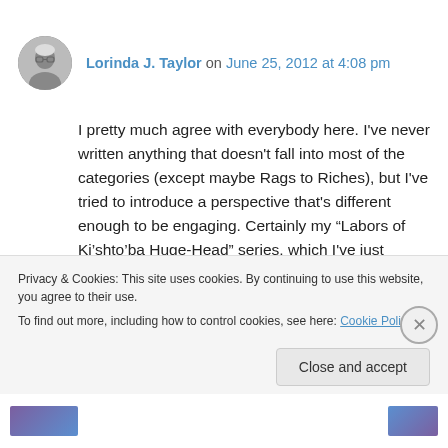Lorinda J. Taylor on June 25, 2012 at 4:08 pm
I pretty much agree with everybody here. I've never written anything that doesn't fall into most of the categories (except maybe Rags to Riches), but I've tried to introduce a perspective that's different enough to be engaging. Certainly my “Labors of Ki’shto’ba Huge-Head” series, which I've just begun to format for publication.
Privacy & Cookies: This site uses cookies. By continuing to use this website, you agree to their use.
To find out more, including how to control cookies, see here: Cookie Policy
Close and accept